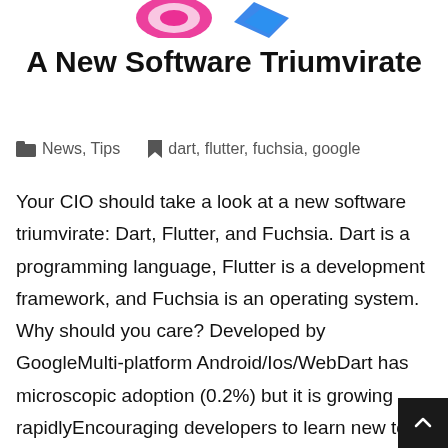[Figure (logo): Partial logos visible at top of page — pink/magenta circular logo and blue angular logo]
A New Software Triumvirate
News, Tips   dart, flutter, fuchsia, google
Your CIO should take a look at a new software triumvirate: Dart, Flutter, and Fuchsia. Dart is a programming language, Flutter is a development framework, and Fuchsia is an operating system. Why should you care? Developed by GoogleMulti-platform Android/Ios/WebDart has microscopic adoption (0.2%) but it is growing rapidlyEncouraging developers to learn new tools is the best retention tool